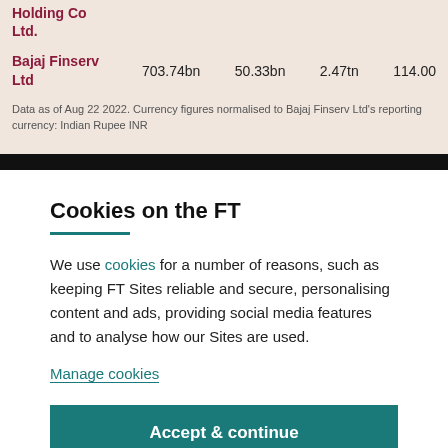Holding Co Ltd.
| Company | Value1 | Value2 | Value3 | Value4 |
| --- | --- | --- | --- | --- |
| Bajaj Finserv Ltd | 703.74bn | 50.33bn | 2.47tn | 114.00 |
Data as of Aug 22 2022. Currency figures normalised to Bajaj Finserv Ltd's reporting currency: Indian Rupee INR
Cookies on the FT
We use cookies for a number of reasons, such as keeping FT Sites reliable and secure, personalising content and ads, providing social media features and to analyse how our Sites are used.
Manage cookies
Accept & continue